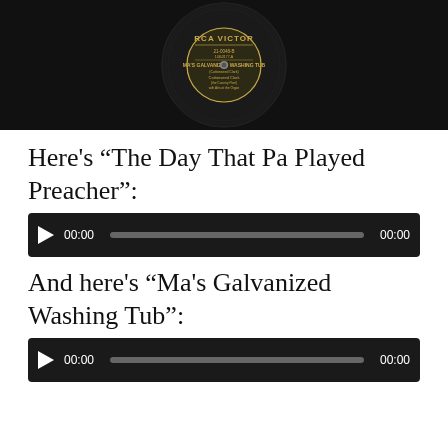[Figure (photo): RCA Victor vinyl record label showing 'Ma's Galvanized Washing Tub' by Cottonseed Clark, record number 21-0048-B, on dark vinyl background]
Here’s “The Day That Pa Played Preacher”:
[Figure (other): Audio player with play button, time display 00:00, progress bar, and end time 00:00]
And here’s “Ma’s Galvanized Washing Tub”:
[Figure (other): Audio player with play button, time display 00:00, progress bar, and end time 00:00]